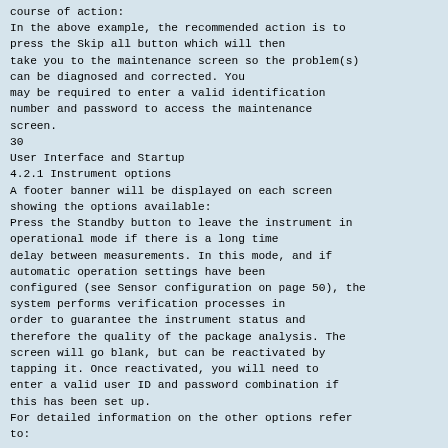course of action:
In the above example, the recommended action is to press the Skip all button which will then take you to the maintenance screen so the problem(s) can be diagnosed and corrected. You may be required to enter a valid identification number and password to access the maintenance screen.
30
User Interface and Startup
4.2.1 Instrument options
A footer banner will be displayed on each screen showing the options available:
Press the Standby button to leave the instrument in operational mode if there is a long time delay between measurements. In this mode, and if automatic operation settings have been configured (see Sensor configuration on page 50), the system performs verification processes in order to guarantee the instrument status and therefore the quality of the package analysis. The screen will go blank, but can be reactivated by tapping it. Once reactivated, you will need to enter a valid user ID and password combination if this has been set up.
For detailed information on the other options refer to:
•
Configuration - Configuration on page 35
•
Calibration - Calibration on page 53
•